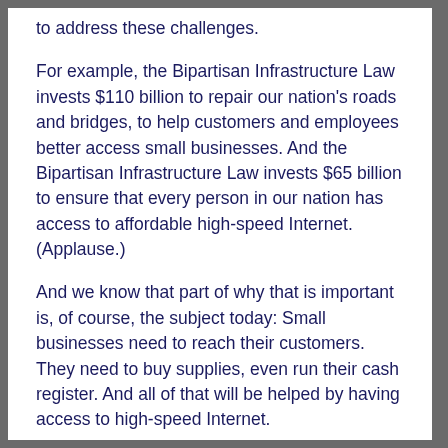to address these challenges.
For example, the Bipartisan Infrastructure Law invests $110 billion to repair our nation's roads and bridges, to help customers and employees better access small businesses. And the Bipartisan Infrastructure Law invests $65 billion to ensure that every person in our nation has access to affordable high-speed Internet. (Applause.)
And we know that part of why that is important is, of course, the subject today: Small businesses need to reach their customers. They need to buy supplies, even run their cash register. And all of that will be helped by having access to high-speed Internet.
And so, we are fighting every day to ensure that small businesses have access to capital and the banking services they need to thrive. And that is why we are all here today.